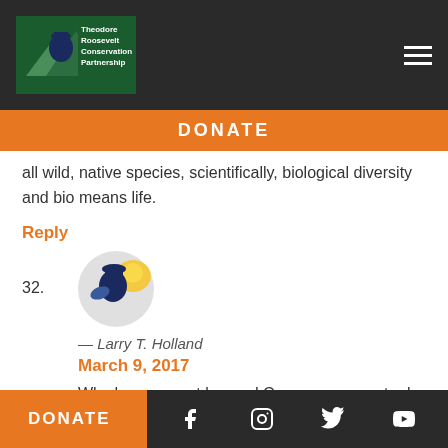Theodore Roosevelt Conservation Partnership — DONATE
...all wild, native species, scientifically, biological diversity and bio means life.
Reply
32.
[Figure (logo): Theodore Roosevelt Conservation Partnership avatar/logo icon]
— Larry T. Holland
March 9, 2017
Why have we not learned Congress can not rule for the people sake! Public Lands will help our Nation verses foreign countries where only a few have rights to use the land
DONATE — social media icons: Facebook, Instagram, Twitter, YouTube